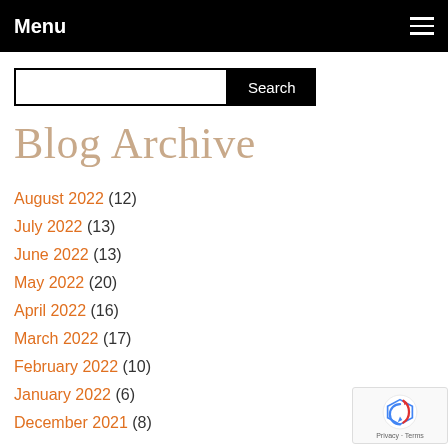Menu
Search
Blog Archive
August 2022 (12)
July 2022 (13)
June 2022 (13)
May 2022 (20)
April 2022 (16)
March 2022 (17)
February 2022 (10)
January 2022 (6)
December 2021 (8)